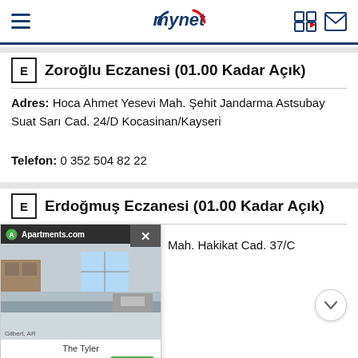mynet
Zoroğlu Eczanesi (01.00 Kadar Açık)
Adres: Hoca Ahmet Yesevi Mah. Şehit Jandarma Astsubay Suat Sarı Cad. 24/D Kocasinan/Kayseri
Telefon: 0 352 504 82 22
Erdoğmuş Eczanesi (01.00 Kadar Açık)
Mah. Hakikat Cad. 37/C
[Figure (screenshot): Apartments.com advertisement overlay showing a kitchen/living space photo, property name 'The Tyler', price $1,897, and a green Contact button]